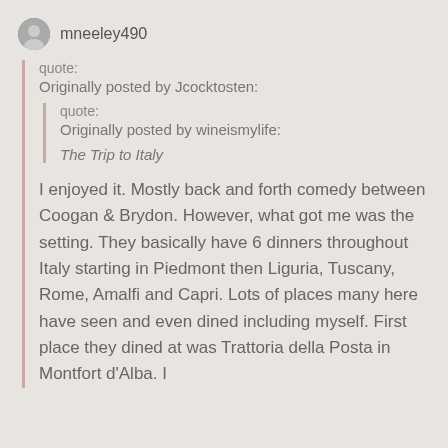mneeley490
quote:
Originally posted by Jcocktosten:
quote:
Originally posted by wineismylife:
The Trip to Italy
I enjoyed it. Mostly back and forth comedy between Coogan & Brydon. However, what got me was the setting. They basically have 6 dinners throughout Italy starting in Piedmont then Liguria, Tuscany, Rome, Amalfi and Capri. Lots of places many here have seen and even dined including myself. First place they dined at was Trattoria della Posta in Montfort d'Alba. I